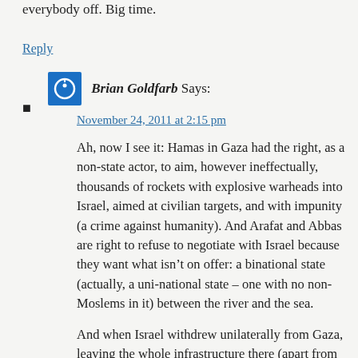everybody off. Big time.
Reply
Brian Goldfarb Says:
November 24, 2011 at 2:15 pm
Ah, now I see it: Hamas in Gaza had the right, as a non-state actor, to aim, however ineffectually, thousands of rockets with explosive warheads into Israel, aimed at civilian targets, and with impunity (a crime against humanity). And Arafat and Abbas are right to refuse to negotiate with Israel because they want what isn't on offer: a binational state (actually, a uni-national state – one with no non-Moslems in it) between the river and the sea.
And when Israel withdrew unilaterally from Gaza, leaving the whole infrastructure there (apart from synagogues, which were demolished), not only did Hamas ensure that a state of non-peace prevailed, but they trashed the